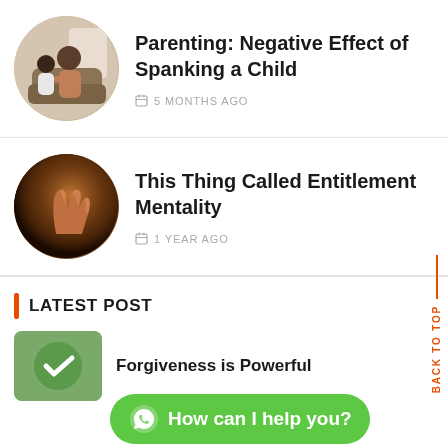[Figure (photo): Circular thumbnail of adult and child sitting on a couch, parenting scene]
Parenting: Negative Effect of Spanking a Child
5 MONTHS AGO
[Figure (photo): Circular thumbnail of a hand reaching upward with warm brown tones]
This Thing Called Entitlement Mentality
1 YEAR AGO
LATEST POST
[Figure (photo): Small rounded thumbnail with green tones, forgiveness article]
Forgiveness is Powerful